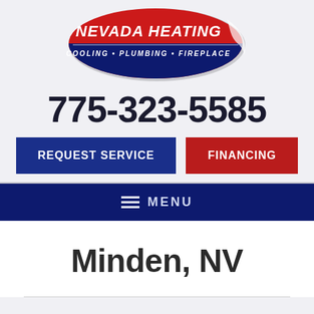[Figure (logo): Nevada Heating logo — oval shape with red top half and blue bottom half. White text 'NEVADA HEATING' on top, white italic text 'COOLING • PLUMBING • FIREPLACE' on blue section, white swoosh accent on right.]
775-323-5585
REQUEST SERVICE
FINANCING
≡ MENU
Minden, NV